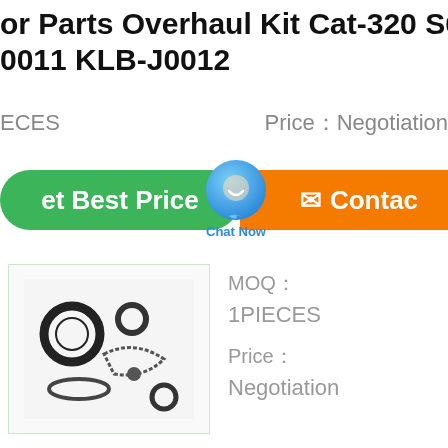or Parts Overhaul Kit Cat-320 S6...0011 KLB-J0012
ECES    Price：Negotiation
[Figure (screenshot): Green 'Get Best Price' button, a blue chat bubble with 'Chat Now' label, and an orange 'Contact' button]
[Figure (photo): Product photo showing overhaul kit with O-rings and seals on white/light background]
MOQ：
1PIECES
Price：
Negotiation